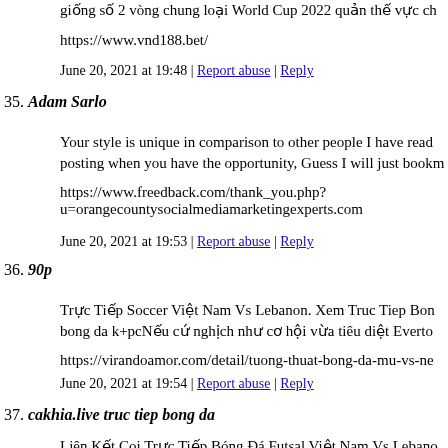giống số 2 vòng chung loại World Cup 2022 quản thế vực ch
https://www.vnd188.bet/
June 20, 2021 at 19:48 | Report abuse | Reply
35. Adam Sarlo
Your style is unique in comparison to other people I have read posting when you have the opportunity, Guess I will just bookm
https://www.freedback.com/thank_you.php?u=orangecountysocialmediamarketingexperts.com
June 20, 2021 at 19:53 | Report abuse | Reply
36. 90p
Trực Tiếp Soccer Việt Nam Vs Lebanon. Xem Truc Tiep Bon bong da k+pcNếu cứ nghịch như cơ hội vừa tiêu diệt Everto
https://virandoamor.com/detail/tuong-thuat-bong-da-mu-vs-ne
June 20, 2021 at 19:54 | Report abuse | Reply
37. cakhia.live truc tiep bong da
Liên Kết Coi Trực Tiếp Bóng Đá Futsal Việt Nam Vs Lebano Cupxem truc tiep bong da asian cupNếu cứ nghịch như cơ hộ